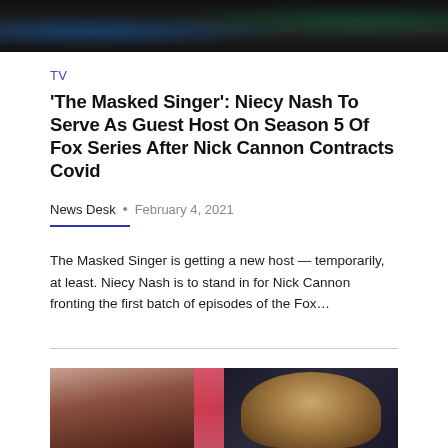[Figure (photo): Dark concert/audience scene at top of page]
TV
'The Masked Singer': Niecy Nash To Serve As Guest Host On Season 5 Of Fox Series After Nick Cannon Contracts Covid
News Desk • February 4, 2021
The Masked Singer is getting a new host — temporarily, at least. Niecy Nash is to stand in for Nick Cannon fronting the first batch of episodes of the Fox...
[Figure (photo): Side-by-side photos of Niecy Nash (left) and Nick Cannon (right)]